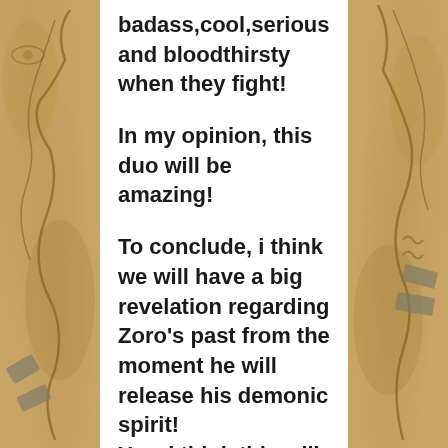[Figure (illustration): Left decorative border with parchment/map texture background, featuring hand-drawn map lines, curves, and rectangular stamp-like shapes in grey/brown tones on aged paper background.]
badass,cool,serious and bloodthirsty when they fight!

In my opinion, this duo will be amazing!

To conclude, i think we will have a big revelation regarding Zoro's past from the moment he will release his demonic spirit!
Yes, i think this will be the fight that we will see him
[Figure (illustration): Right decorative border with parchment/map texture background, featuring hand-drawn map lines, curves, wave symbols and rectangular stamp-like shapes in grey/brown tones on aged paper background.]